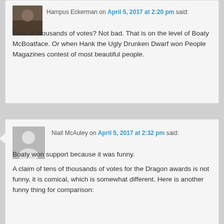[Figure (photo): Avatar photo of Hampus Eckerman, small profile image]
Hampus Eckerman on April 5, 2017 at 2:20 pm said:
Tens of thousands of votes? Not bad. That is on the level of Boaty McBoatface. Or when Hank the Ugly Drunken Dwarf won People Magazines contest of most beautiful people.
[Figure (illustration): Default grey avatar placeholder with person silhouette for Niall McAuley]
Niall McAuley on April 5, 2017 at 2:32 pm said:
Boaty won support because it was funny.

A claim of tens of thousands of votes for the Dragon awards is not funny, it is comical, which is somewhat different. Here is another funny thing for comparison: